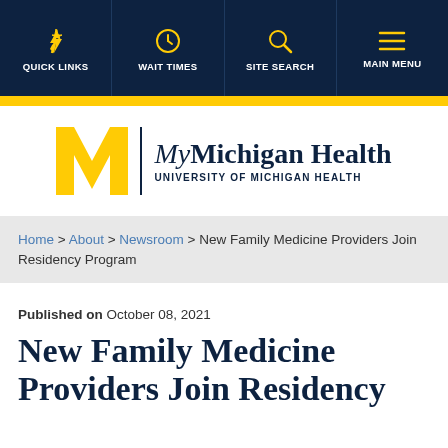QUICK LINKS | WAIT TIMES | SITE SEARCH | MAIN MENU
[Figure (logo): MyMichigan Health – University of Michigan Health logo with block M in gold]
Home > About > Newsroom > New Family Medicine Providers Join Residency Program
Published on October 08, 2021
New Family Medicine Providers Join Residency Program